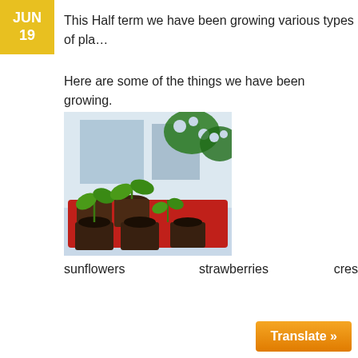JUN 19
This Half term we have been growing various types of pla...
Here are some of the things we have been growing.
[Figure (photo): Photo of seedlings in small pots on a red tray on a windowsill, with green decorative leaf cutouts in the background]
sunflowers     strawberries     cres...